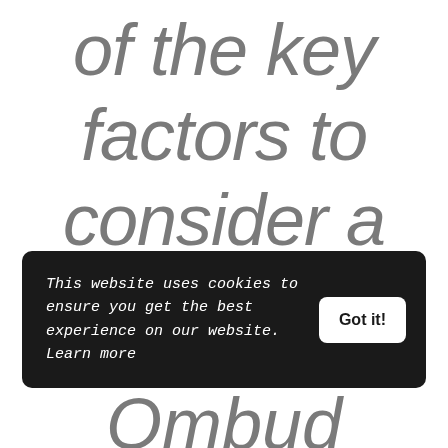of the key factors to consider a material
This website uses cookies to ensure you get the best experience on our website. Learn more
Got it!
(partial text continues below)